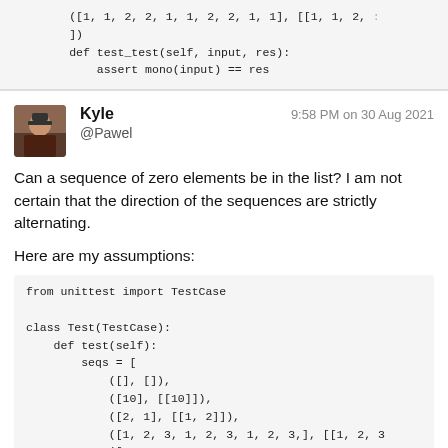([1, 1, 2, 2, 1, 1, 2, 2, 1, 1], [[1, 1, 2, :
])
def test_test(self, input, res):
    assert mono(input) == res
Kyle
9:58 PM on 30 Aug 2021
@Pawel
Can a sequence of zero elements be in the list? I am not certain that the direction of the sequences are strictly alternating.
Here are my assumptions:
from unittest import TestCase

class Test(TestCase):
    def test(self):
        seqs = [
            ([], []),
            ([10], [[10]]),
            ([2, 1], [[1, 2]]),
            ([1, 2, 3, 1, 2, 3, 1, 2, 3,], [[1, 2, 3
            ([